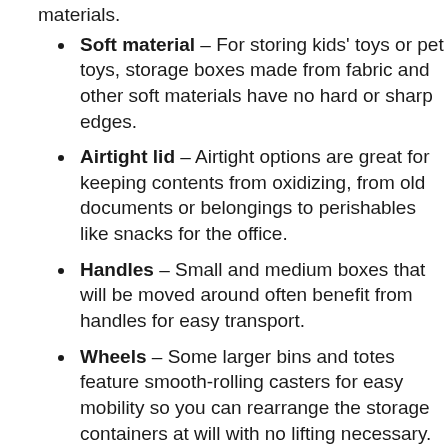materials.
Soft material – For storing kids' toys or pet toys, storage boxes made from fabric and other soft materials have no hard or sharp edges.
Airtight lid – Airtight options are great for keeping contents from oxidizing, from old documents or belongings to perishables like snacks for the office.
Handles – Small and medium boxes that will be moved around often benefit from handles for easy transport.
Wheels – Some larger bins and totes feature smooth-rolling casters for easy mobility so you can rearrange the storage containers at will with no lifting necessary.